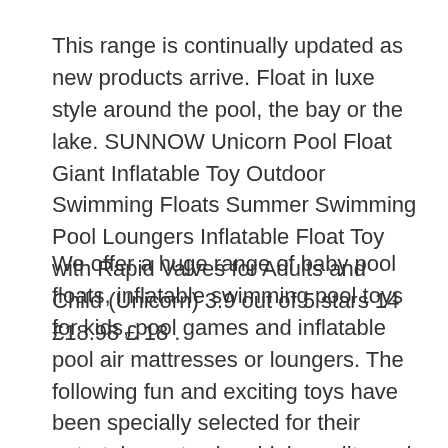This range is continually updated as new products arrive. Float in luxe style around the pool, the bay or the lake. SUNNOW Unicorn Pool Float Giant Inflatable Toy Outdoor Swimming Floats Summer Swimming Pool Loungers Inflatable Float Toy with Rapid Valves for Adults and Child (Unicorn) 3.9 out of 5 stars 14 £18.98 £ 18 .
We offer a huge range of baby pool floats, inflatable swimming pool toys for kids, pool games and inflatable pool air mattresses or loungers. The following fun and exciting toys have been specially selected for their entertainment value, high quality and affordable price. No matter what you're looking for or where you are in the world, our global marketplace of sellers can help you find unique and affordable options.